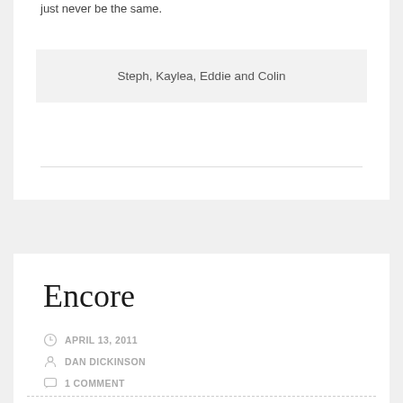just never be the same.
Steph, Kaylea, Eddie and Colin
Encore
APRIL 13, 2011
DAN DICKINSON
1 COMMENT